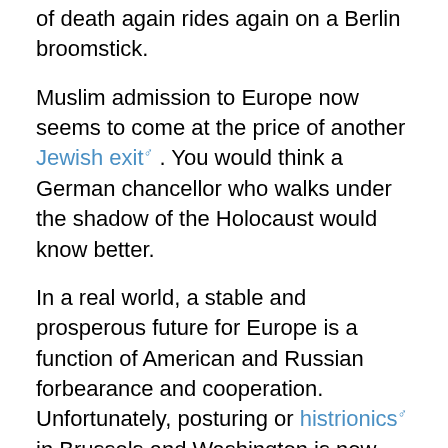of death again rides again on a Berlin broomstick.
Muslim admission to Europe now seems to come at the price of another Jewish exit. You would think a German chancellor who walks under the shadow of the Holocaust would know better.
In a real world, a stable and prosperous future for Europe is a function of American and Russian forbearance and cooperation. Unfortunately, posturing or histrionics in Brussels and Washington is now more about business and appeasement than a stable European future.
Besides automobiles, the only manufacturing of any consequence left in the West is the defense industry. If the business of national security is now business, it's a booming business.
The Middle East and Africa are awash with weapons, war, and instability because NATO nations are willing to sponsor sedition and sell the wherewithal to friends and foes alike.